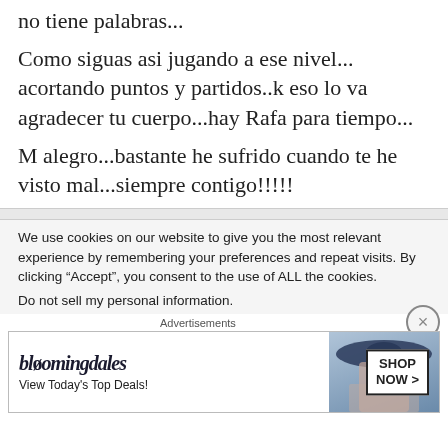no tiene palabras...
Como siguas asi jugando a ese nivel... acortando puntos y partidos..k eso lo va agradecer tu cuerpo...hay Rafa para tiempo...
M alegro...bastante he sufrido cuando te he visto mal...siempre contigo!!!!!
We use cookies on our website to give you the most relevant experience by remembering your preferences and repeat visits. By clicking “Accept”, you consent to the use of ALL the cookies.
Do not sell my personal information.
Advertisements
[Figure (other): Bloomingdale's advertisement banner with logo, 'View Today's Top Deals!' tagline, fashion photo of woman in hat, and 'SHOP NOW >' button.]